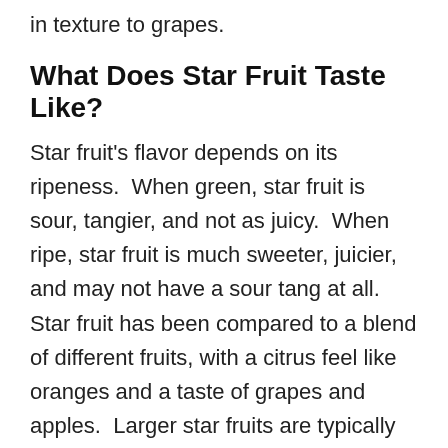in texture to grapes.
What Does Star Fruit Taste Like?
Star fruit's flavor depends on its ripeness.  When green, star fruit is sour, tangier, and not as juicy.  When ripe, star fruit is much sweeter, juicier, and may not have a sour tang at all.  Star fruit has been compared to a blend of different fruits, with a citrus feel like oranges and a taste of grapes and apples.  Larger star fruits are typically sweeter while smaller star fruits are usually more tart.
How Do You Eat Star Fruit?
Star fruit can be eaten raw or cooked.  The skin is